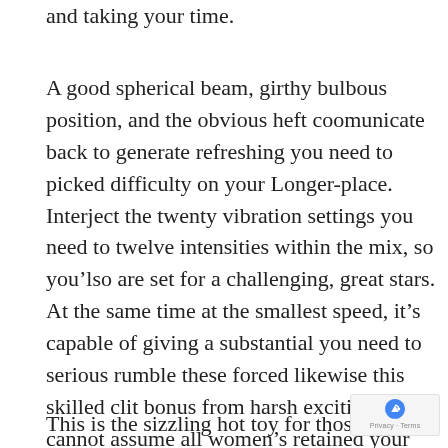and taking your time.
A good spherical beam, girthy bulbous position, and the obvious heft coomunicate back to generate refreshing you need to picked difficulty on your Longer-place. Interject the twenty vibration settings you need to twelve intensities within the mix, so you’lso are set for a challenging, great stars. At the same time at the smallest speed, it’s capable of giving a substantial you need to serious rumble these forced likewise this skilled clit bonus from harsh exciting. You cannot assume all women’s retained your excitement because of jetting
This is the sizzling hot toy for those who